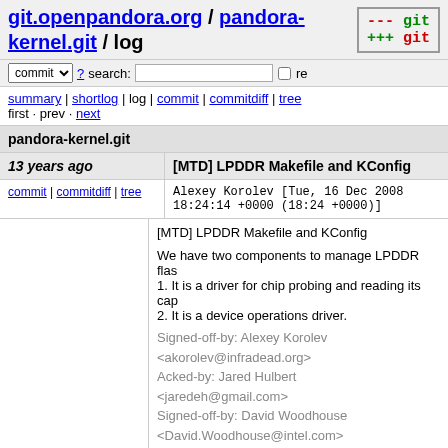git.openpandora.org / pandora-kernel.git / log
commit search: re
summary | shortlog | log | commit | commitdiff | tree
first · prev · next
pandora-kernel.git
13 years ago	[MTD] LPDDR Makefile and KConfig
commit | commitdiff | tree	Alexey Korolev [Tue, 16 Dec 2008 18:24:14 +0000 (18:24 +0000)]
[MTD] LPDDR Makefile and KConfig

We have two components to manage LPDDR flas
1. It is a driver for chip probing and reading its cap
2. It is a device operations driver.

Signed-off-by: Alexey Korolev <akorolev@infradead.org>
Acked-by: Jared Hulbert <jaredeh@gmail.com>
Signed-off-by: David Woodhouse <David.Woodhouse@intel.com>
13 years ago
[MTD] LPDDR extended physmap driver to support LPDDR flash